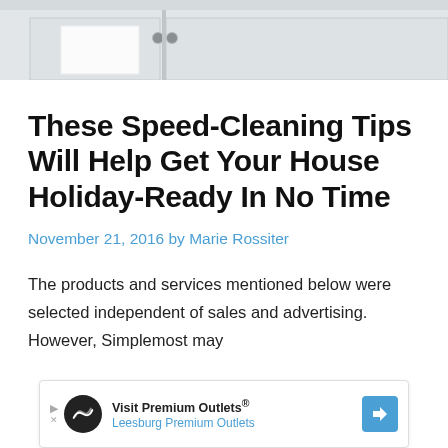[Figure (photo): Partial photo of a kitchen with white cabinets and drawers visible at the top of the page]
These Speed-Cleaning Tips Will Help Get Your House Holiday-Ready In No Time
November 21, 2016 by Marie Rossiter
The products and services mentioned below were selected independent of sales and advertising. However, Simplemost may
[Figure (other): Advertisement banner: Visit Premium Outlets® Leesburg Premium Outlets]